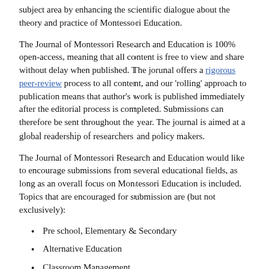subject area by enhancing the scientific dialogue about the theory and practice of Montessori Education.
The Journal of Montessori Research and Education is 100% open-access, meaning that all content is free to view and share without delay when published. The jorunal offers a rigorous peer-review process to all content, and our 'rolling' approach to publication means that author's work is published immediately after the editorial process is completed. Submissions can therefore be sent throughout the year. The journal is aimed at a global readership of researchers and policy makers.
The Journal of Montessori Research and Education would like to encourage submissions from several educational fields, as long as an overall focus on Montessori Education is included. Topics that are encouraged for submission are (but not exclusively):
Pre school, Elementary & Secondary
Alternative Education
Classroom Management
Collaborative & Team Teaching